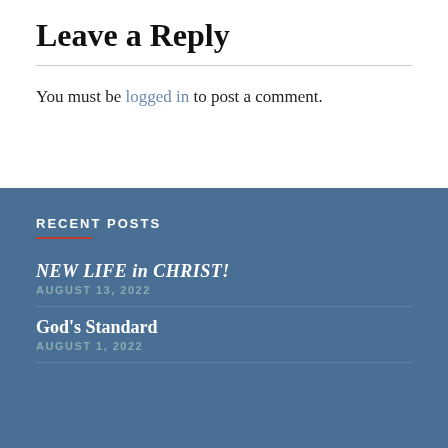Leave a Reply
You must be logged in to post a comment.
RECENT POSTS
NEW LIFE in CHRIST!
AUGUST 13, 2022
God's Standard
AUGUST 1, 2022